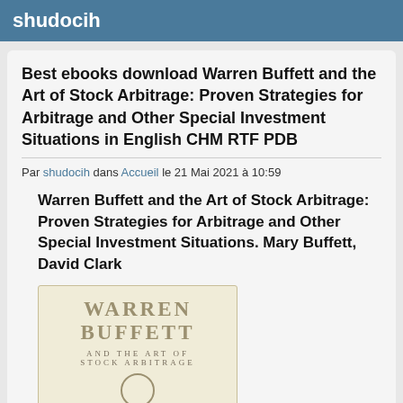shudocih
Best ebooks download Warren Buffett and the Art of Stock Arbitrage: Proven Strategies for Arbitrage and Other Special Investment Situations in English CHM RTF PDB
Par shudocih dans Accueil le 21 Mai 2021 à 10:59
Warren Buffett and the Art of Stock Arbitrage: Proven Strategies for Arbitrage and Other Special Investment Situations. Mary Buffett, David Clark
[Figure (illustration): Book cover showing 'WARREN BUFFETT AND THE ART OF STOCK ARBITRAGE' text on a cream/beige background with decorative circular emblem]